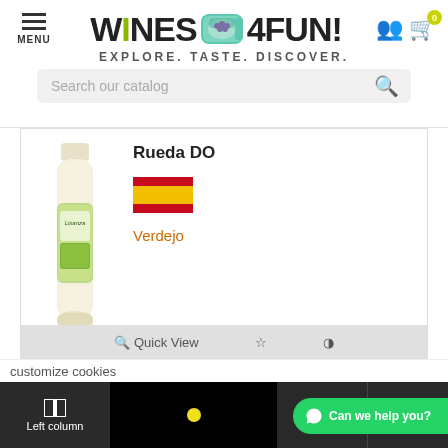[Figure (logo): Wines4Fun logo with green bottle graphic, tagline EXPLORE. TASTE. DISCOVER., menu icon, user icon, cart icon with 0 badge]
Search our catalog
[Figure (photo): White wine bottle - Lisanza label with green vineyard imagery]
Rueda DO
[Figure (illustration): Spanish flag icon]
Verdejo
€3.06
- 1 + Add To Basket
Quick View
customize cookies
Left column
Share
Top
Can we help you?